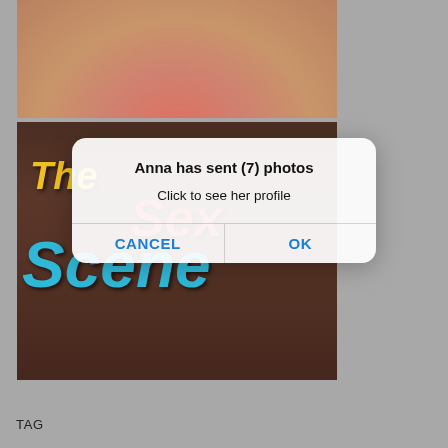[Figure (screenshot): Screenshot of a mobile browser page showing explicit content with an iOS-style dialog box overlay. The dialog reads 'Anna has sent (7) photos' with subtitle 'Click to see her profile' and two buttons: CANCEL and OK. Below the dialog is stylized text reading 'The Sex Scene' over a dark background image.]
TAG